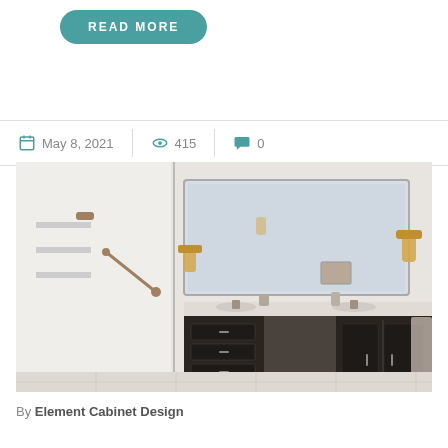READ MORE
May 8, 2021  415  0
[Figure (photo): Bathroom interior with dark wood vanity cabinets, large rectangular mirror, marble countertop, wall sconces, and an open walk-in shower visible through a glass door on the left.]
By Element Cabinet Design